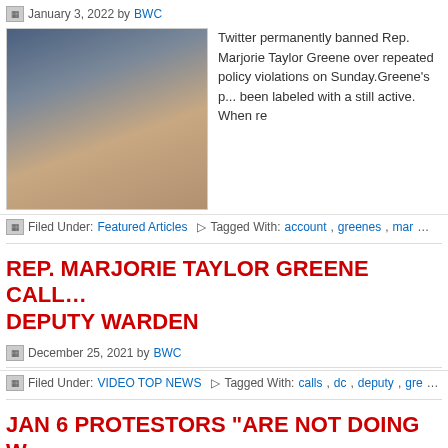January 3, 2022 by BWC
[Figure (photo): Photo of Rep. Marjorie Taylor Greene at a podium with microphones, with other people visible in the background including an American flag.]
Twitter permanently banned Rep. Marjorie Taylor Greene over repeated policy violations on Sunday. Greene's personal account appears to have been labeled with a strike before this ban, and is still active. When re...
Filed Under: Featured Articles   Tagged With: account, greenes, mar...
REP. MARJORIE TAYLOR GREENE CALL... DEPUTY WARDEN
December 25, 2021 by BWC
Filed Under: VIDEO TOP NEWS   Tagged With: calls, dc, deputy, gre...
JAN 6 PROTESTORS “ARE NOT DOING W... REPORTS ON THE CONDITIONS IN JAIL...
November 10, 2021 by BWC